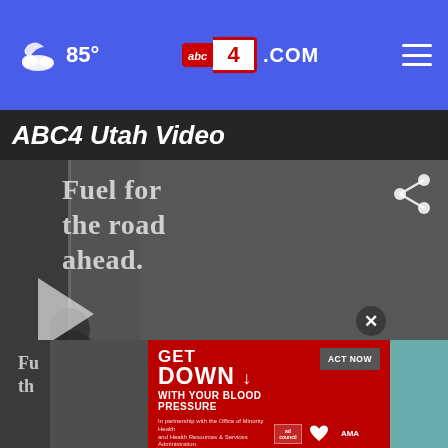85° | abc4.com
ABC4 Utah Video
[Figure (screenshot): Video thumbnail showing a restaurant window with 'Fuel for the road ahead.' text on glass, people inside visible. News lower-third overlay showing ABC4 News at 7:00, headline LOCAL RESTAURANT CHAIN DEFIES ODDS AMID PANDEMIC / VESSEL KITCHEN SET TO OPEN NEW LOCATION, CW30 logo, 96°/7:20, ticker: PRES. BIDEN ACCUSES SYRIAN GOVERNMENT OF DETAINING HIM / LOCAL NEWS]
[Figure (screenshot): Advertisement banner: GET DOWN WITH YOUR BLOOD PRESSURE, ACT NOW, In partnership with the Office of Minority Health and Health Resources & Services Administration. Logos: ad council, American Heart Association, AMA.]